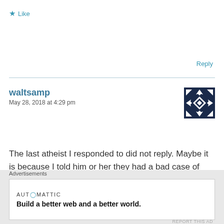★ Like
Reply
waltsamp
May 28, 2018 at 4:29 pm
[Figure (illustration): Avatar icon: blue and white geometric snowflake/star pattern on dark navy background]
The last atheist I responded to did not reply. Maybe it is because I told him or her they had a bad case of ego inflation. You seem to have the same affliction since you write with assurance about things of which you know nothing.
★ Like
Advertisements
AUTOMATTIC
Build a better web and a better world.